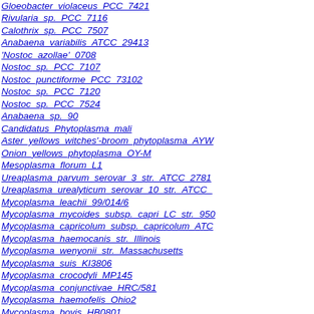Gloeobacter violaceus PCC 7421
Rivularia sp. PCC 7116
Calothrix sp. PCC 7507
Anabaena variabilis ATCC 29413
'Nostoc azollae' 0708
Nostoc sp. PCC 7107
Nostoc punctiforme PCC 73102
Nostoc sp. PCC 7120
Nostoc sp. PCC 7524
Anabaena sp. 90
Candidatus Phytoplasma mali
Aster yellows witches'-broom phytoplasma AYW...
Onion yellows phytoplasma OY-M
Mesoplasma florum L1
Ureaplasma parvum serovar 3 str. ATCC 2781...
Ureaplasma urealyticum serovar 10 str. ATCC ...
Mycoplasma leachii 99/014/6
Mycoplasma mycoides subsp. capri LC str. 950...
Mycoplasma capricolum subsp. capricolum ATC...
Mycoplasma haemocanis str. Illinois
Mycoplasma wenyonii str. Massachusetts
Mycoplasma suis KI3806
Mycoplasma crocodyli MP145
Mycoplasma conjunctivae HRC/581
Mycoplasma haemofelis Ohio2
Mycoplasma bovis HB0801
Mycoplasma penetrans HF-2
Mycoplasma putrefaciens KS1
Mycoplasma mobile 163K
Mycoplasma fermentans M64